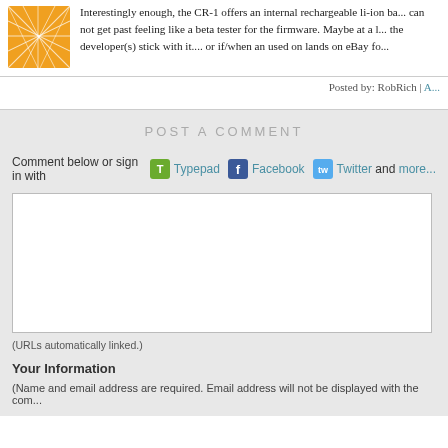[Figure (logo): Orange geometric logo with white line pattern]
Interestingly enough, the CR-1 offers an internal rechargeable li-ion ba... can not get past feeling like a beta tester for the firmware. Maybe at a l... the developer(s) stick with it.... or if/when an used on lands on eBay fo...
Posted by: RobRich | A...
POST A COMMENT
Comment below or sign in with Typepad Facebook Twitter and more...
(URLs automatically linked.)
Your Information
(Name and email address are required. Email address will not be displayed with the com...